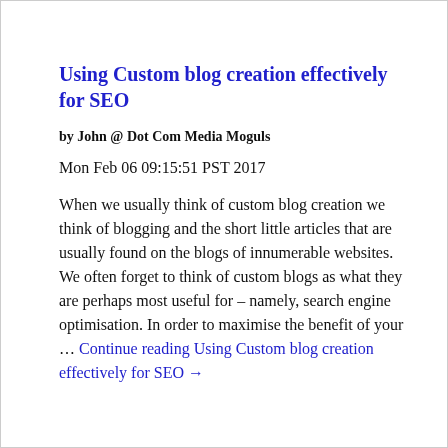Using Custom blog creation effectively for SEO
by John @ Dot Com Media Moguls
Mon Feb 06 09:15:51 PST 2017
When we usually think of custom blog creation we think of blogging and the short little articles that are usually found on the blogs of innumerable websites. We often forget to think of custom blogs as what they are perhaps most useful for – namely, search engine optimisation. In order to maximise the benefit of your … Continue reading Using Custom blog creation effectively for SEO →